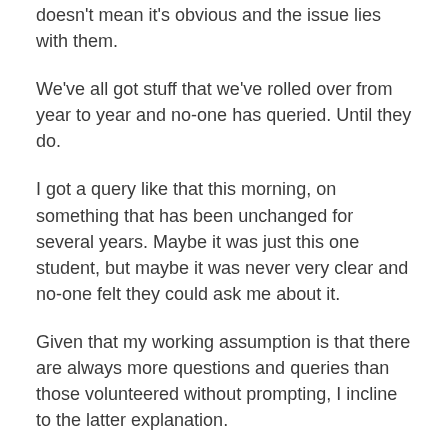doesn't mean it's obvious and the issue lies with them.
We've all got stuff that we've rolled over from year to year and no-one has queried. Until they do.
I got a query like that this morning, on something that has been unchanged for several years. Maybe it was just this one student, but maybe it was never very clear and no-one felt they could ask me about it.
Given that my working assumption is that there are always more questions and queries than those volunteered without prompting, I incline to the latter explanation.
Checking and re-checking our assumptions is hard, because often they are deeply implicit, or conditioned by external factors that we're only marginally aware of.
That might be because of changing technologies,